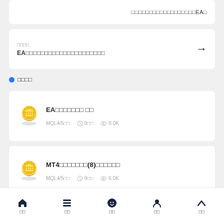□□□□□□□□□□□□□□□□□□EA□
□□□□
EA□□□□□□□□□□□□□□□□□□□□
● □□□□
EA□□□□□□□ □□
MQL4/5□□  ○ 9□□  ◎ 8.0K
MT4□□□□□□□(8)□□□□□□
MQL4/5□□  ○ 9□□  ◎ 6.0K
□□□□□□□□□□EA
□□  □□  □□  □□  □□